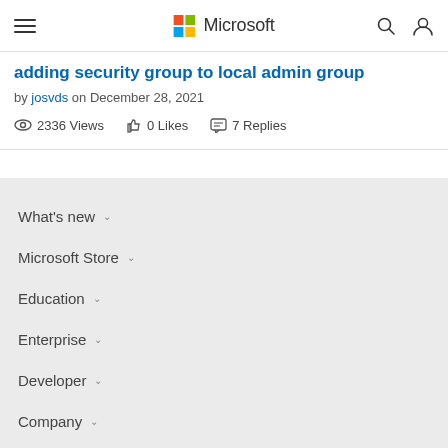Microsoft navigation bar with hamburger menu and Microsoft logo
adding security group to local admin group
by josvds on December 28, 2021
2336 Views   0 Likes   7 Replies
What's new
Microsoft Store
Education
Enterprise
Developer
Company